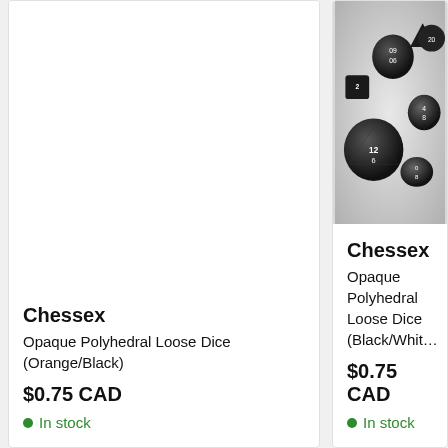[Figure (photo): Empty white product image area for Chessex Opaque Polyhedral Loose Dice (Orange/Black) - no image visible]
Chessex
Opaque Polyhedral Loose Dice (Orange/Black)
$0.75 CAD
In stock
[Figure (photo): Photo of black polyhedral dice set (multiple dice including d4, d6, d8, d10, d12, d20) with white numbering, arranged on a light gray surface]
Chessex
Opaque Polyhedral Loose Dice (Black/White)
$0.75 CAD
In stock